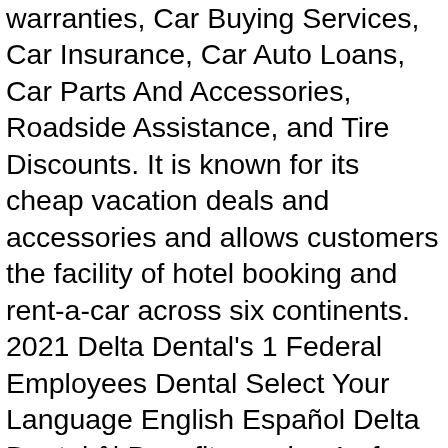warranties, Car Buying Services, Car Insurance, Car Auto Loans, Car Parts And Accessories, Roadside Assistance, and Tire Discounts. It is known for its cheap vacation deals and accessories and allows customers the facility of hotel booking and rent-a-car across six continents. 2021 Delta Dental's 1 Federal Employees Dental Select Your Language English Español Delta Dental â¦ Benefits on day 1 of employment. Even more discounts on dental care You can take advantage of our great Delta Dental Provider discounts to save on care beyond your plan. Get Delta Employee Perks on Financial Services Discounts, Credit Cards, Credit Repair, Credit Scores & Monitoring, Home Loans And Refi, ID Monitoring & Protection, and even Personal Loans. Employee Discount Services. Check out the Delta Dental Difference and what it can mean for you. Careers at ASU . Member Resources – How to register and use the Delta Dental secure website to view benefits and claims, information